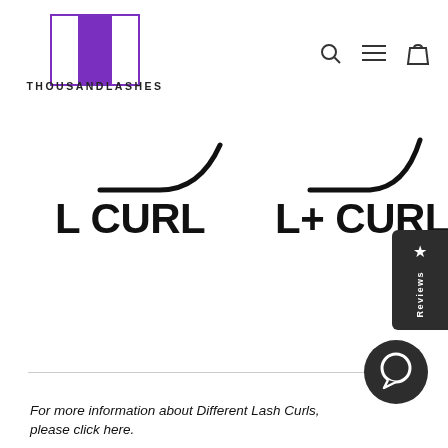[Figure (logo): Thousand Lashes logo with large purple T lettermark and text THOUSANDLASHES below]
[Figure (illustration): Two eyelash curl shape diagrams: L CURL on the left and L+ CURL on the right, shown as curved line silhouettes]
L CURL
L+ CURL
[Figure (other): Dark circular chat/support widget bubble icon]
For more information about Different Lash Curls, please click here.